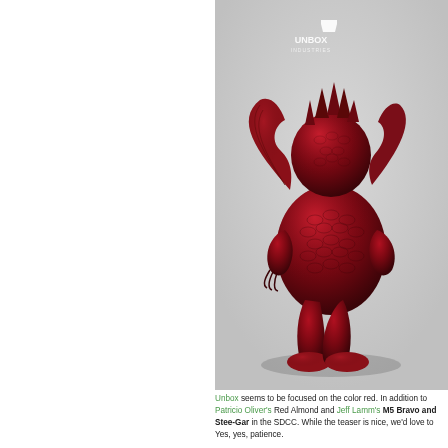[Figure (photo): A dark red/crimson metallic monster toy figurine (resembling Godzilla-style kaiju) with scaled texture, wings, and clawed feet, photographed against a light gray background. An 'UNBOX INDUSTRIES' logo appears in the upper portion of the image.]
Unbox seems to be focused on the color red. In addition to Patricio Oliver's Red Almond and Jeff Lamm's M5 Bravo and Stee-Gar in the SDCC. While the teaser is nice, we'd love to Yes, yes, patience.